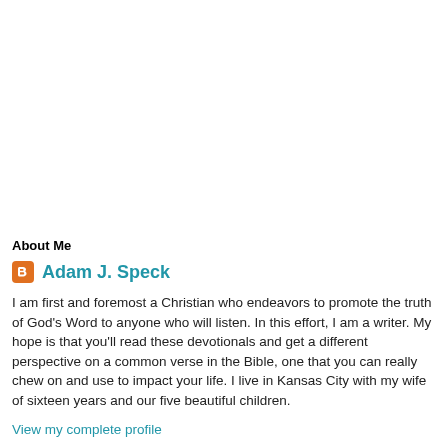About Me
Adam J. Speck
I am first and foremost a Christian who endeavors to promote the truth of God's Word to anyone who will listen. In this effort, I am a writer. My hope is that you'll read these devotionals and get a different perspective on a common verse in the Bible, one that you can really chew on and use to impact your life. I live in Kansas City with my wife of sixteen years and our five beautiful children.
View my complete profile